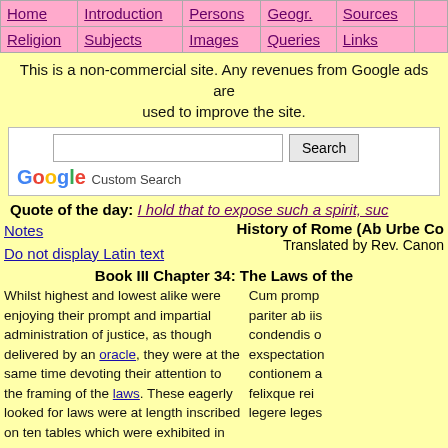| Home | Introduction | Persons | Geogr. | Sources |  |
| --- | --- | --- | --- | --- | --- |
| Religion | Subjects | Images | Queries | Links |  |
This is a non-commercial site. Any revenues from Google ads are used to improve the site.
Google Custom Search [search box]
Quote of the day: I hold that to expose such a spirit, suc
Notes
Do not display Latin text
History of Rome (Ab Urbe Co
Translated by Rev. Canon
Book III Chapter 34: The Laws of the
Whilst highest and lowest alike were enjoying their prompt and impartial administration of justice, as though delivered by an oracle, they were at the same time devoting their attention to the framing of the laws. These eagerly looked for laws were at length inscribed on ten tables which were exhibited in an Assembly specially convened for the purpose. After a prayer that
Cum promp pariter ab iis condendis o exspectation contionem a felixque rei legere leges